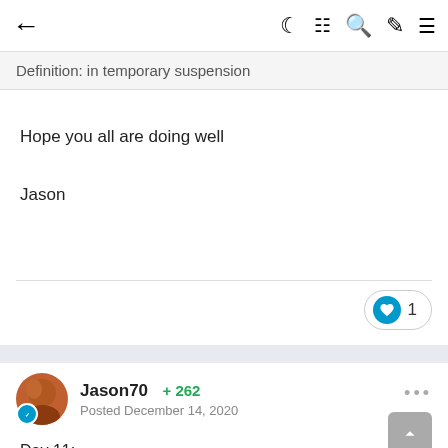← (back arrow) | (moon icon) (grid icon) (search icon) (brush icon) (menu icon)
Definition: in temporary suspension
Hope you all are doing well
Jason
❤ 1
Jason70 ⊕ 262
Posted December 14, 2020
Day 11:
Word of the day: abatis